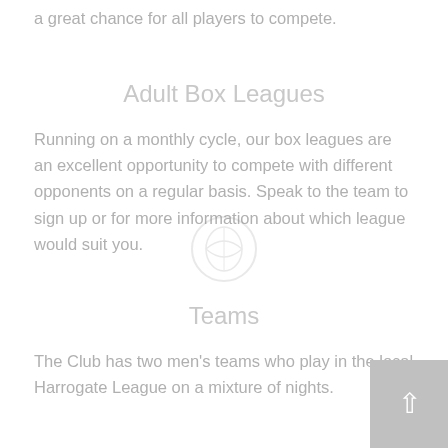a great chance for all players to compete.
Adult Box Leagues
Running on a monthly cycle, our box leagues are an excellent opportunity to compete with different opponents on a regular basis. Speak to the team to sign up or for more information about which league would suit you.
Teams
The Club has two men's teams who play in the local Harrogate League on a mixture of nights.